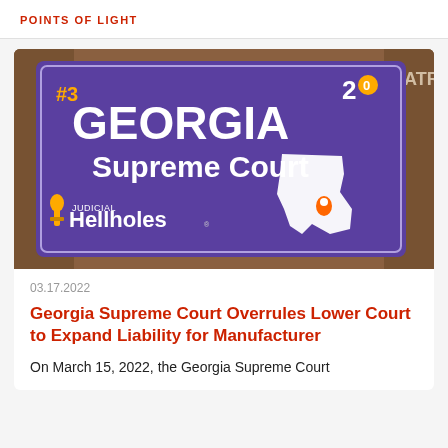POINTS OF LIGHT
[Figure (photo): Purple Judicial Hellholes sign reading '#3 GEORGIA Supreme Court' with the state outline of Georgia and an orange location pin, plus '20' logo in upper right corner and 'JUDICIAL Hellholes' branding at bottom left. Sign is photographed against a warm brown blurred background with 'ATR' partially visible in upper right.]
03.17.2022
Georgia Supreme Court Overrules Lower Court to Expand Liability for Manufacturer
On March 15, 2022, the Georgia Supreme Court